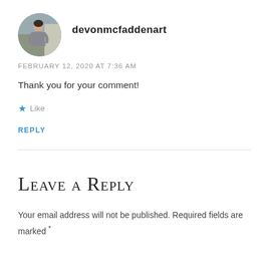[Figure (photo): Circular avatar photo of a person wearing a grey dress, standing outdoors]
devonmcfaddenart
FEBRUARY 12, 2020 AT 7:36 AM
Thank you for your comment!
★ Like
REPLY
Leave a Reply
Your email address will not be published. Required fields are marked *